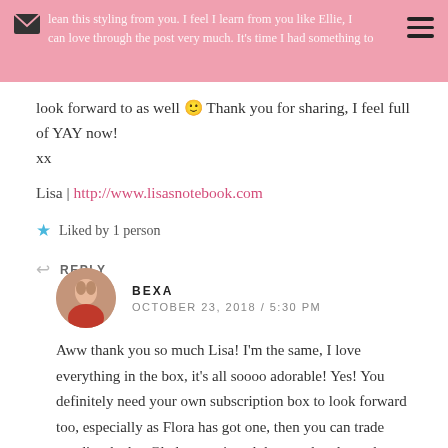look forward to as well 😊 Thank you for sharing, I feel full of YAY now! xx
look forward to as well 😊 Thank you for sharing, I feel full of YAY now!
xx
Lisa | http://www.lisasnotebook.com
★ Liked by 1 person
REPLY
BEXA
OCTOBER 23, 2018 / 5:30 PM
Aww thank you so much Lisa! I’m the same, I love everything in the box, it’s all soooo adorable! Yes! You definitely need your own subscription box to look forward too, especially as Flora has got one, then you can trade goodies, he he. Glad you enjoyed the post lovely, and YAY! <3 xx